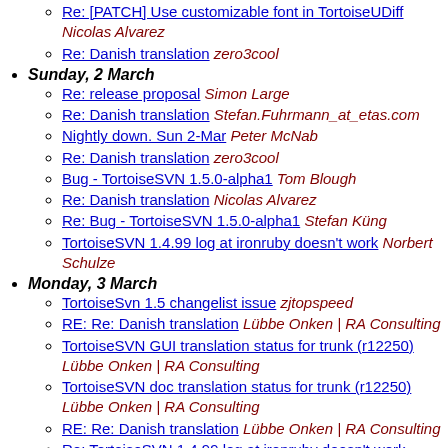Re: [PATCH] Use customizable font in TortoiseUDiff – Nicolas Alvarez
Re: Danish translation – zero3cool
Sunday, 2 March
Re: release proposal – Simon Large
Re: Danish translation – Stefan.Fuhrmann_at_etas.com
Nightly down. Sun 2-Mar – Peter McNab
Re: Danish translation – zero3cool
Bug - TortoiseSVN 1.5.0-alpha1 – Tom Blough
Re: Danish translation – Nicolas Alvarez
Re: Bug - TortoiseSVN 1.5.0-alpha1 – Stefan Küng
TortoiseSVN 1.4.99 log at ironruby doesn't work – Norbert Schulze
Monday, 3 March
TortoiseSvn 1.5 changelist issue – zjtopspeed
RE: Re: Danish translation – Lübbe Onken | RA Consulting
TortoiseSVN GUI translation status for trunk (r12250) – Lübbe Onken | RA Consulting
TortoiseSVN doc translation status for trunk (r12250) – Lübbe Onken | RA Consulting
RE: Re: Danish translation – Lübbe Onken | RA Consulting
Re: TortoiseSVN 1.4.99 log at ironruby doesn't work – Stefan Fuhrmann...